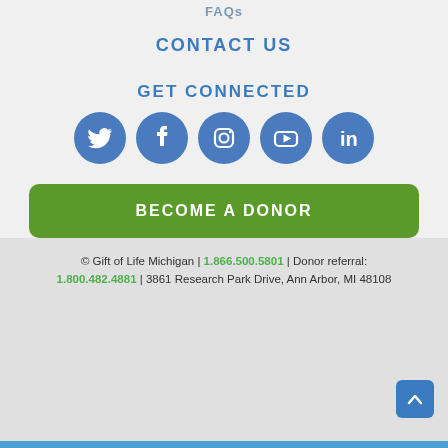FAQs
CONTACT US
GET CONNECTED
[Figure (illustration): Five social media icons in blue circles: Twitter, Facebook, Instagram, YouTube, LinkedIn]
BECOME A DONOR
© Gift of Life Michigan | 1.866.500.5801 | Donor referral: 1.800.482.4881 | 3861 Research Park Drive, Ann Arbor, MI 48108